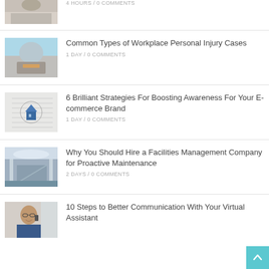[Figure (photo): Partial view of person writing at desk, top of page]
4 HOURS /  0 COMMENTS
[Figure (photo): Person working with tools or craft, blue sleeves]
Common Types of Workplace Personal Injury Cases
1 DAY /  0 COMMENTS
[Figure (photo): Small blue house model on paper drawings/blueprints]
6 Brilliant Strategies For Boosting Awareness For Your E-commerce Brand
1 DAY /  0 COMMENTS
[Figure (photo): Interior of a large building/mall with escalators and ornate floor]
Why You Should Hire a Facilities Management Company for Proactive Maintenance
2 DAYS /  0 COMMENTS
[Figure (photo): Man with glasses talking on phone, smiling]
10 Steps to Better Communication With Your Virtual Assistant